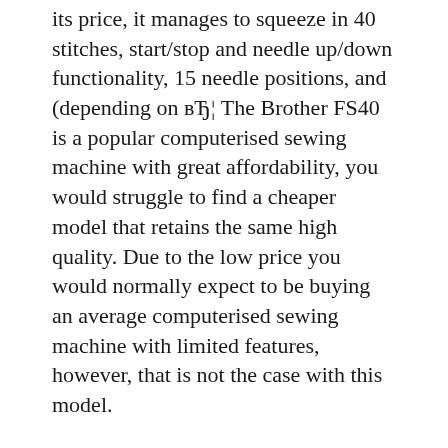its price, it manages to squeeze in 40 stitches, start/stop and needle up/down functionality, 15 needle positions, and (depending on вЂ¦ The Brother FS40 is a popular computerised sewing machine with great affordability, you would struggle to find a cheaper model that retains the same high quality. Due to the low price you would normally expect to be buying an average computerised sewing machine with limited features, however, that is not the case with this model.
When it comes to sewing machines, this is what we expect from Brother and Singer companies. In this review, we will focus on Brother sewing machines. Brother is the company that creates high-quality products with the user's